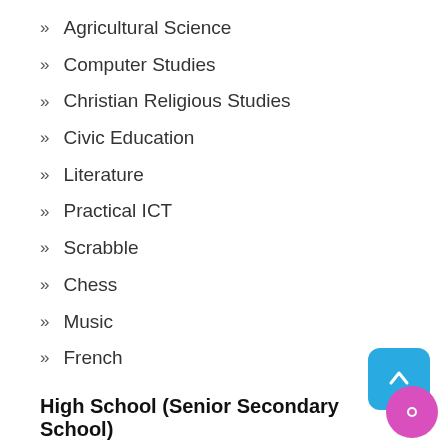Agricultural Science
Computer Studies
Christian Religious Studies
Civic Education
Literature
Practical ICT
Scrabble
Chess
Music
French
High School (Senior Secondary School)
Our senior secondary school at is a 3 stage programme beginning with Grades 10. It encourages students to use the study skills they have acquired in the junior school to take charge of their own learning